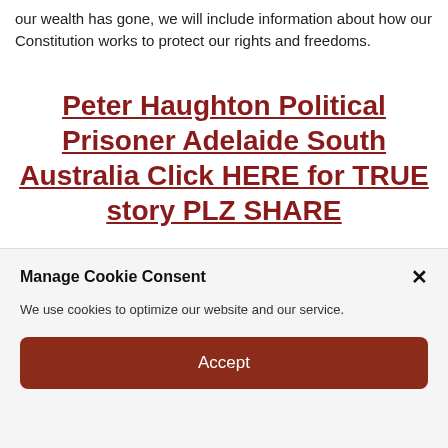our wealth has gone, we will include information about how our Constitution works to protect our rights and freedoms.
Peter Haughton Political Prisoner Adelaide South Australia Click HERE for TRUE story PLZ SHARE
[Figure (photo): Headshot of a smiling young woman with her hair up, photographed against a white background, cropped to show head and shoulders.]
Manage Cookie Consent
We use cookies to optimize our website and our service.
Accept